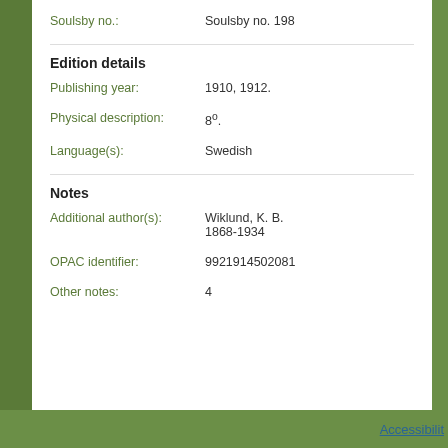Soulsby no.: Soulsby no. 198
Edition details
Publishing year: 1910, 1912.
Physical description: 8°.
Language(s): Swedish
Notes
Additional author(s): Wiklund, K. B. 1868-1934
OPAC identifier: 9921914502081
Other notes: 4
Accessibilit